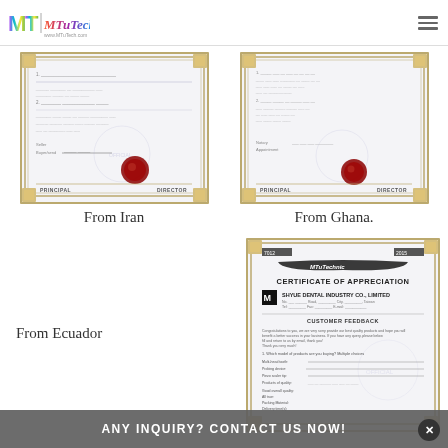MTuTech | www.MTuTech.com
[Figure (photo): Certificate document from Iran with handwritten text, ornamental border, red wax seal, and PRINCIPAL/DIRECTOR labels]
From Iran
[Figure (photo): Certificate document from Ghana with handwritten text, ornamental border, red wax seal, and PRINCIPAL/DIRECTOR labels]
From Ghana.
From Ecuador
[Figure (photo): MTuTechnic Certificate of Appreciation from SHYUE DENTAL INDUSTRY CO., LIMITED with customer feedback form and MT logo]
ANY INQUIRY? CONTACT US NOW!